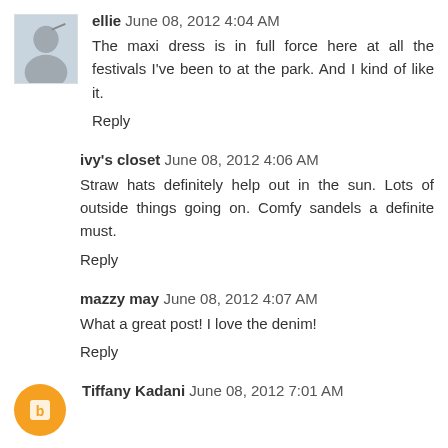ellie  June 08, 2012 4:04 AM
The maxi dress is in full force here at all the festivals I've been to at the park. And I kind of like it.
Reply
ivy's closet  June 08, 2012 4:06 AM
Straw hats definitely help out in the sun. Lots of outside things going on. Comfy sandels a definite must.
Reply
mazzy may  June 08, 2012 4:07 AM
What a great post! I love the denim!
Reply
Tiffany Kadani  June 08, 2012 7:01 AM